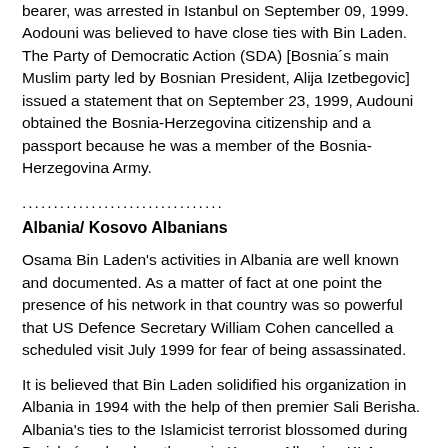bearer, was arrested in Istanbul on September 09, 1999. Aodouni was believed to have close ties with Bin Laden. The Party of Democratic Action (SDA) [Bosnia´s main Muslim party led by Bosnian President, Alija Izetbegovic] issued a statement that on September 23, 1999, Audouni obtained the Bosnia-Herzegovina citizenship and a passport because he was a member of the Bosnia-Herzegovina Army.
................................
Albania/ Kosovo Albanians
Osama Bin Laden's activities in Albania are well known and documented. As a matter of fact at one point the presence of his network in that country was so powerful that US Defence Secretary William Cohen cancelled a scheduled visit July 1999 for fear of being assassinated.
It is believed that Bin Laden solidified his organization in Albania in 1994 with the help of then premier Sali Berisha. Albania's ties to the Islamicist terrorist blossomed during Berisha´s rule when the main Kosovo Albanian KLA training base was on Berisha´s property in northern Albania.
Furthermore, it is now well established in Albania that it...